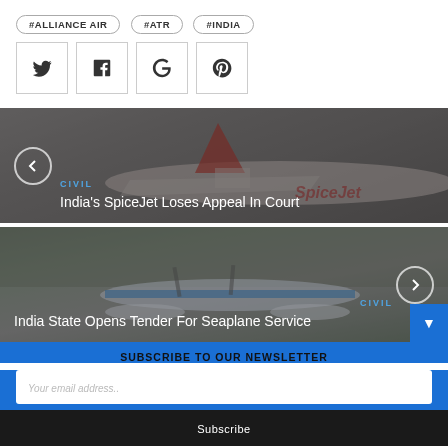#ALLIANCE AIR
#ATR
#INDIA
[Figure (infographic): Social media share buttons: Twitter, Facebook, Google, Pinterest]
[Figure (photo): News card with SpiceJet airplane photo. Category: CIVIL. Title: India's SpiceJet Loses Appeal In Court. Left navigation arrow.]
[Figure (photo): News card with seaplane photo. Category: CIVIL. Title: India State Opens Tender For Seaplane Service. Right navigation arrow.]
SUBSCRIBE TO OUR NEWSLETTER
Your email address..
Subscribe